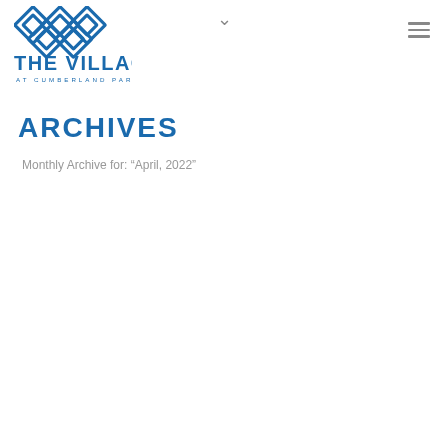[Figure (logo): The Village at Cumberland Park logo — geometric diamond/cross pattern in blue above bold blue text 'THE VILLAGE' and smaller spaced text 'AT CUMBERLAND PARK']
ARCHIVES
Monthly Archive for: "April, 2022"